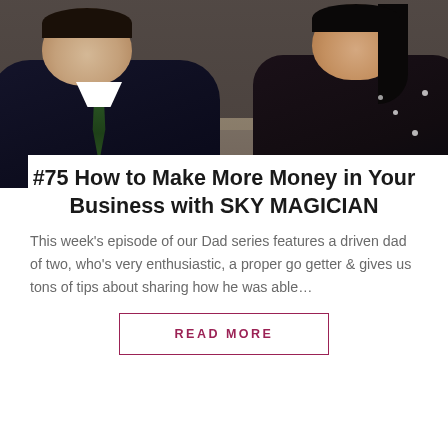[Figure (photo): Photo of two people sitting on a sofa: a man in a dark suit with a green tie on the left, and a woman in a black and white patterned dress on the right, both smiling.]
#75 How to Make More Money in Your Business with SKY MAGICIAN
This week's episode of our Dad series features a driven dad of two, who's very enthusiastic, a proper go getter & gives us tons of tips about sharing how he was able...
READ MORE